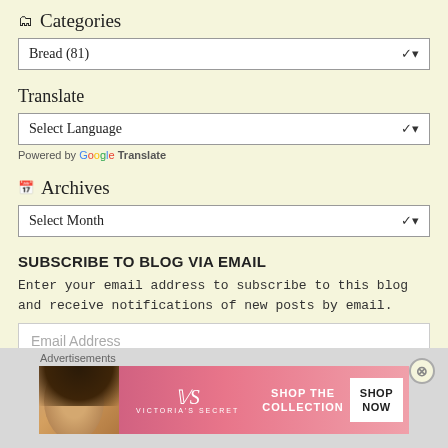Categories
Bread (81)
Translate
Select Language
Powered by Google Translate
Archives
Select Month
SUBSCRIBE TO BLOG VIA EMAIL
Enter your email address to subscribe to this blog and receive notifications of new posts by email.
Email Address
Advertisements
[Figure (other): Victoria's Secret advertisement banner showing a woman, VS logo, text SHOP THE COLLECTION, and a SHOP NOW button]